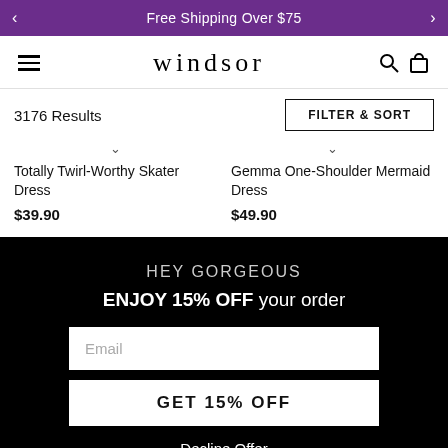Free Shipping Over $75
Windsor (logo)
3176 Results
FILTER & SORT
Totally Twirl-Worthy Skater Dress
$39.90
Gemma One-Shoulder Mermaid Dress
$49.90
HEY GORGEOUS
ENJOY 15% OFF your order
Email
GET 15% OFF
Decline Offer